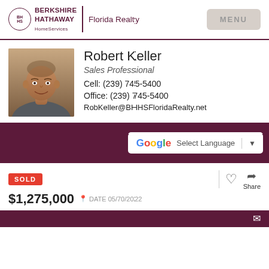[Figure (logo): Berkshire Hathaway HomeServices Florida Realty logo with circular emblem]
MENU
Robert Keller
Sales Professional
Cell: (239) 745-5400
Office: (239) 745-5400
RobKeller@BHHSFloridaRealty.net
[Figure (other): Google Translate Select Language button]
SOLD
$1,275,000
DATE 05/70/2022
Share